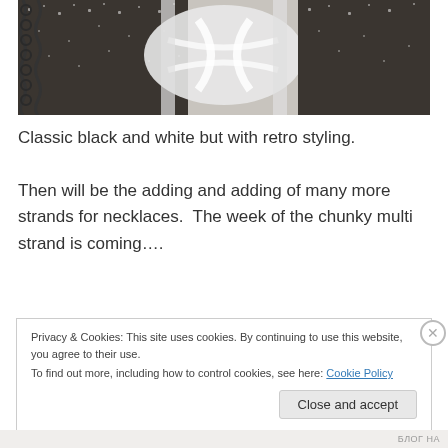[Figure (photo): Photo of black and white jewelry — chains and fabric with white ribbon/bow, retro styling, displayed on a light background]
Classic black and white but with retro styling.
Then will be the adding and adding of many more strands for necklaces.  The week of the chunky multi strand is coming….
Privacy & Cookies: This site uses cookies. By continuing to use this website, you agree to their use.
To find out more, including how to control cookies, see here: Cookie Policy